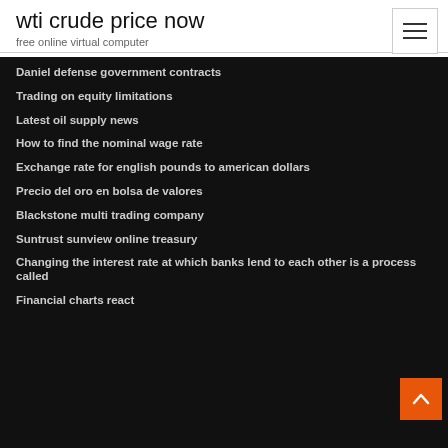wti crude price now
free online virtual computer
Daniel defense government contracts
Trading on equity limitations
Latest oil supply news
How to find the nominal wage rate
Exchange rate for english pounds to american dollars
Precio del oro en bolsa de valores
Blackstone multi trading company
Suntrust sunview online treasury
Changing the interest rate at which banks lend to each other is a process called
Financial charts react